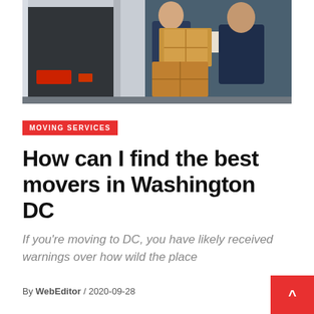[Figure (photo): Two movers in blue uniforms unloading cardboard boxes from a white van/truck. One mover holds a clipboard, the other has arms crossed. Background shows a building with blue-tinted stairs.]
MOVING SERVICES
How can I find the best movers in Washington DC
If you’re moving to DC, you have likely received warnings over how wild the place
By WebEditor / 2020-09-28